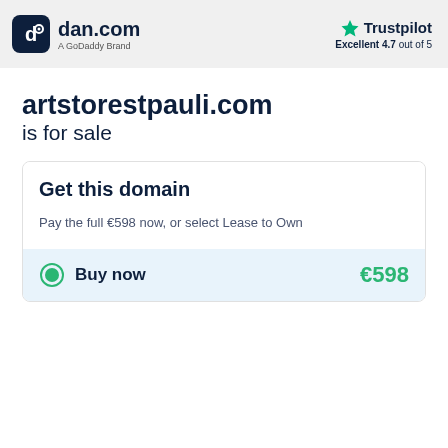dan.com — A GoDaddy Brand | Trustpilot Excellent 4.7 out of 5
artstorestpauli.com is for sale
Get this domain
Pay the full €598 now, or select Lease to Own
Buy now €598